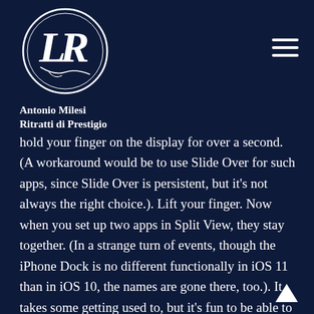[Figure (logo): Circular logo with stylized LR monogram and decorative script, white on dark navy background. Antonio Milesi Ritratti di Prestigio brand logo.]
Antonio Milesi
Ritratti di Prestigio
hold your finger on the display for over a second. (A workaround would be to use Slide Over for such apps, since Slide Over is persistent, but it's not always the right choice.). Lift your finger. Now when you set up two apps in Split View, they stay together. (In a strange turn of events, though the iPhone Dock is no different functionally in iOS 11 than in iOS 10, the names are gone there, too.). It takes some getting used to, but it's fun to be able to switch directly between apps with only a couple of gestures. I can see why Apple has taken this approach. This article was co-authored by our trained team of editors and researchers who validated it for accuracy and comprehensiveness. Swipe up on an app card.